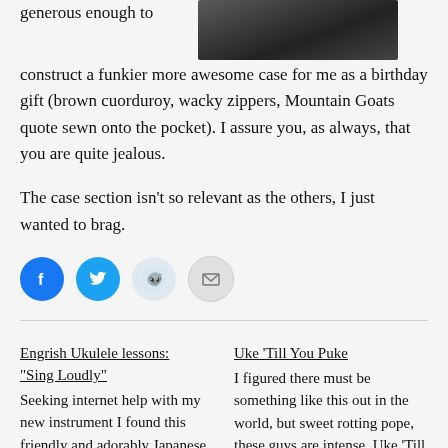[Figure (photo): Dark close-up photo of a ukulele case or puzzle piece on a surface]
generous enough to construct a funkier more awesome case for me as a birthday gift (brown cuorduroy, wacky zippers, Mountain Goats quote sewn onto the pocket). I assure you, as always, that you are quite jealous.
The case section isn't so relevant as the others, I just wanted to brag.
[Figure (infographic): Social sharing icons: Facebook (blue circle), Twitter (blue circle), Reddit (light blue circle), Email (grey circle)]
Engrish Ukulele lessons: “Sing Loudly”
Seeking internet help with my new instrument I found this friendly and adorably Japanese
Uke ‘Till You Puke
I figured there must be something like this out in the world, but sweet rotting pope, these guys are intense. Uke ‘Till You